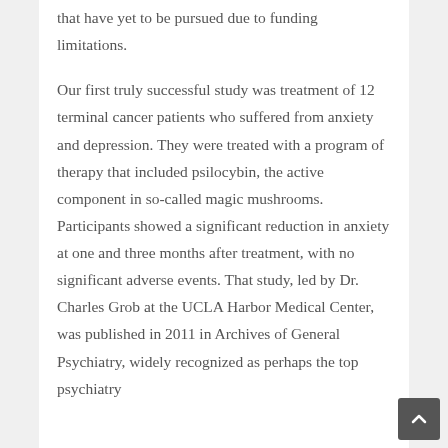that have yet to be pursued due to funding limitations.
Our first truly successful study was treatment of 12 terminal cancer patients who suffered from anxiety and depression. They were treated with a program of therapy that included psilocybin, the active component in so-called magic mushrooms. Participants showed a significant reduction in anxiety at one and three months after treatment, with no significant adverse events. That study, led by Dr. Charles Grob at the UCLA Harbor Medical Center, was published in 2011 in Archives of General Psychiatry, widely recognized as perhaps the top psychiatry